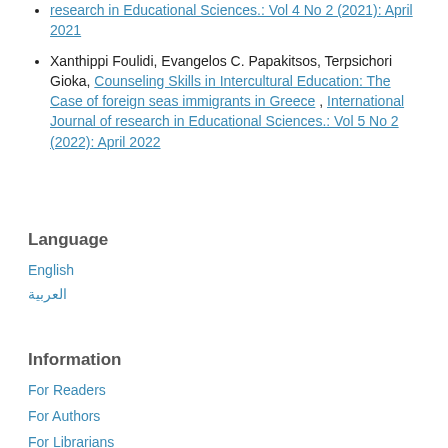research in Educational Sciences.: Vol 4 No 2 (2021): April 2021
Xanthippi Foulidi, Evangelos C. Papakitsos, Terpsichori Gioka, Counseling Skills in Intercultural Education: The Case of foreign seas immigrants in Greece , International Journal of research in Educational Sciences.: Vol 5 No 2 (2022): April 2022
Language
English
العربية
Information
For Readers
For Authors
For Librarians